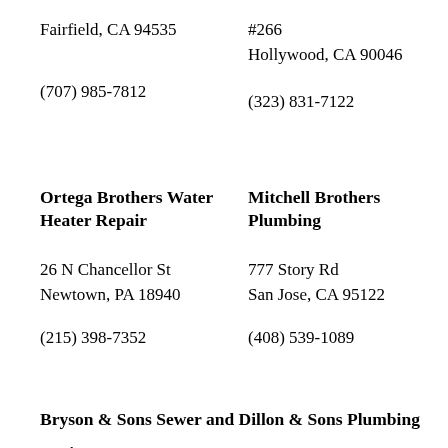Fairfield, CA 94535
#266
Hollywood, CA 90046
(707) 985-7812
(323) 831-7122
Ortega Brothers Water Heater Repair
Mitchell Brothers Plumbing
26 N Chancellor St
777 Story Rd
Newtown, PA 18940
San Jose, CA 95122
(215) 398-7352
(408) 539-1089
Bryson & Sons Sewer and Drain LLC
Dillon & Sons Plumbing & Water Heaters Corp